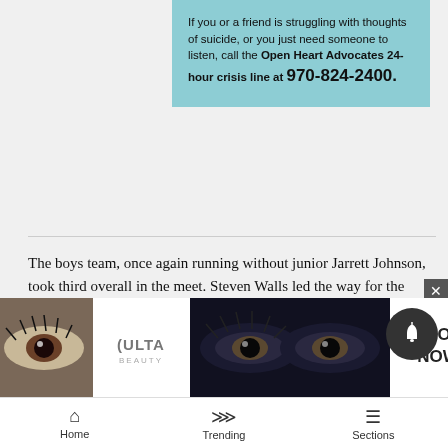If you or a friend is struggling with thoughts of suicide, or you just need someone to listen, call the Open Heart Advocates 24-hour crisis line at 970-824-2400.
The boys team, once again running without junior Jarrett Johnson, took third overall in the meet. Steven Walls led the way for the Bulldogs in 18:55. Other times were not available as of Friday afternoon.
The regional meet is in Delta Oct. 18, with the top five teams advancing to state in Colorado Springs Oct. 25.
[Figure (photo): ULTA beauty advertisement banner showing makeup product images and models with 'SHOP NOW' call to action]
Home   Trending   Sections